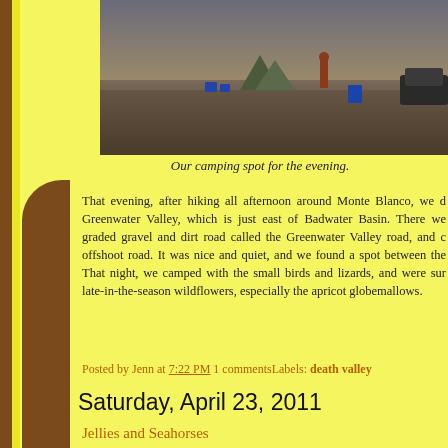[Figure (photo): A camping spot in the desert showing a tent, camp chairs, and a person standing near a vehicle on sandy/rocky terrain at dusk or evening.]
Our camping spot for the evening.
That evening, after hiking all afternoon around Monte Blanco, we d... Greenwater Valley, which is just east of Badwater Basin. There we... graded gravel and dirt road called the Greenwater Valley road, and c... offshoot road. It was nice and quiet, and we found a spot between the... That night, we camped with the small birds and lizards, and were sur... late-in-the-season wildflowers, especially the apricot globemallows.
Posted by Jenn at 7:22 PM 1 commentsLabels: death valley
Saturday, April 23, 2011
Jellies and Seahorses
Today we went to the Monterey Bay Aquarium. Ever since we've mov... we've wanted to go, but it was one of those things that was alwa... whenever we had a free weekend. Finally we decided to go! There we... but most seemed to be focused on displaying fish and other animals as... ocean, specifically the west coast. But they also had a seahorse and a...